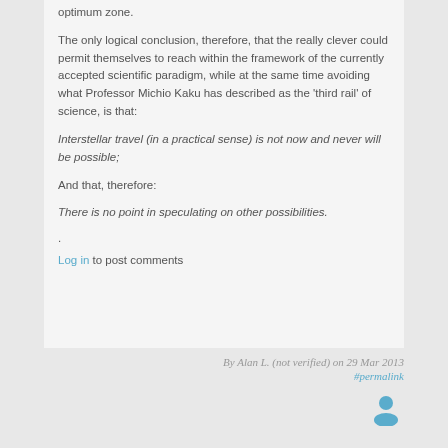optimum zone.
The only logical conclusion, therefore, that the really clever could permit themselves to reach within the framework of the currently accepted scientific paradigm, while at the same time avoiding what Professor Michio Kaku has described as the 'third rail' of science, is that:
Interstellar travel (in a practical sense) is not now and never will be possible;
And that, therefore:
There is no point in speculating on other possibilities.
.
Log in to post comments
By Alan L. (not verified) on 29 Mar 2013
#permalink